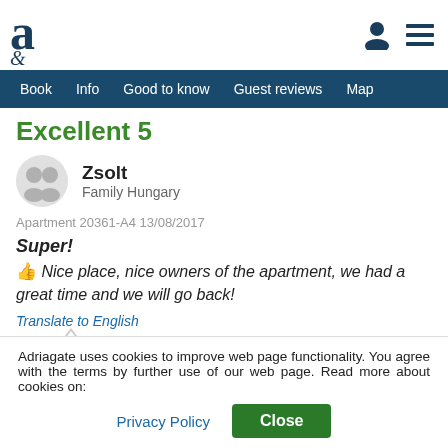a [logo] | person icon | menu icon
Book | Info | Good to know | Guest reviews | Map
Excellent 5
Zsolt
Family Hungary
Apartment 20361-A4 13/08/2017
Super!
Nice place, nice owners of the apartment, we had a great time and we will go back!
Translate to English
Branka
Adriagate uses cookies to improve web page functionality. You agree with the terms by further use of our web page. Read more about cookies on:
Privacy Policy | Close